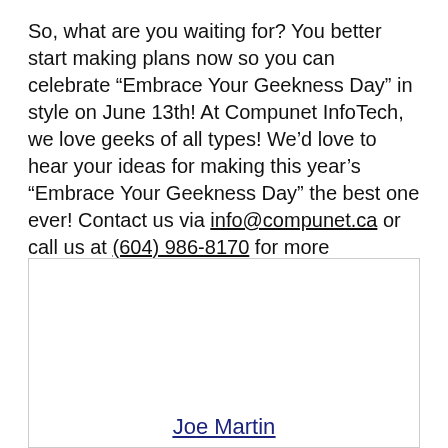So, what are you waiting for? You better start making plans now so you can celebrate “Embrace Your Geekness Day” in style on June 13th! At Compunet InfoTech, we love geeks of all types! We’d love to hear your ideas for making this year’s “Embrace Your Geekness Day” the best one ever! Contact us via info@compunet.ca or call us at (604) 986-8170 for more information.
[Figure (other): Author card box with name Joe Martin, description text, and social media icons]
Joe Martin
Compunet InfoTech delivers a complete array of expertly Managed IT, Cloud, and Cybersecurity Services.